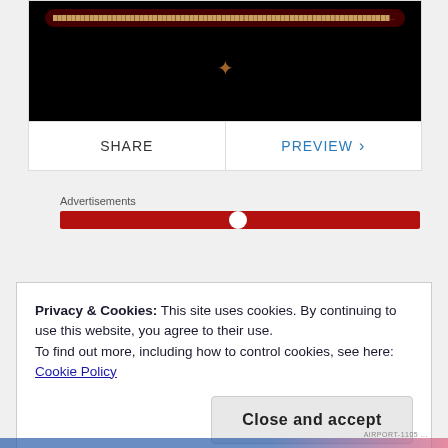[Figure (screenshot): Video player card with dark background, title bar overlay, and share/preview action bar]
SHARE
PREVIEW ›
Advertisements
[Figure (other): Red advertisement banner bar]
Privacy & Cookies: This site uses cookies. By continuing to use this website, you agree to their use.
To find out more, including how to control cookies, see here: Cookie Policy
Close and accept